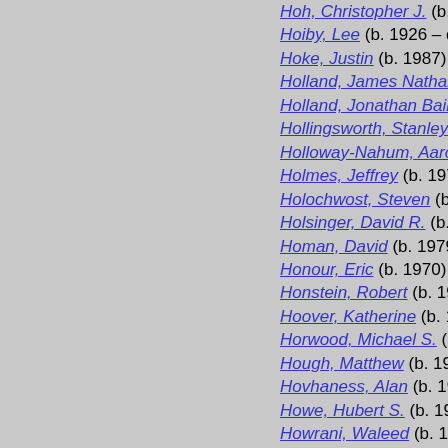Hoh, Christopher J. (b. 19…
Hoiby, Lee (b. 1926 – d. 2…
Hoke, Justin (b. 1987)
Holland, James Nathaniel…
Holland, Jonathan Bailey…
Hollingsworth, Stanley Wa…
Holloway-Nahum, Aaron…
Holmes, Jeffrey (b. 1971)…
Holochwost, Steven (b. 19…
Holsinger, David R. (b. 19…
Homan, David (b. 1979)
Honour, Eric (b. 1970)
Honstein, Robert (b. 1980…
Hoover, Katherine (b. 193…
Horwood, Michael S. (b. 1…
Hough, Matthew (b. 1981…
Hovhaness, Alan (b. 1911…
Howe, Hubert S. (b. 1942…
Howrani, Waleed (b. 1948…
Hu, Ching-chu (b. 1969)
Huang Ruo (b. 1976) (Chi…
Huan… (b. 197…)